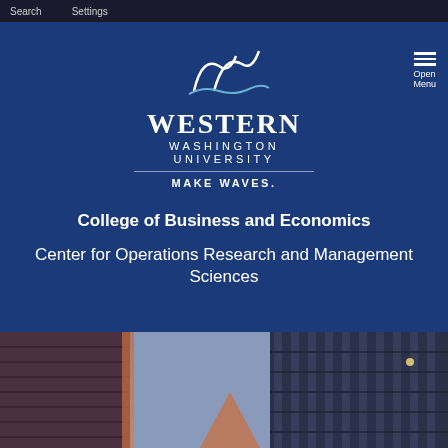Search   Settings
[Figure (logo): Western Washington University logo with wave/mountain graphic and text WESTERN WASHINGTON UNIVERSITY MAKE WAVES.]
College of Business and Economics
Center for Operations Research and Management Sciences
[Figure (photo): Upward-looking photo of modern glass and brick skyscrapers against a blue-purple sky, with orange/pink reflections on the building facades.]